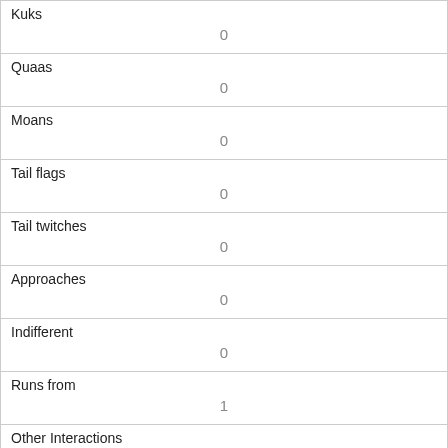| Kuks | 0 |
| Quaas | 0 |
| Moans | 0 |
| Tail flags | 0 |
| Tail twitches | 0 |
| Approaches | 0 |
| Indifferent | 0 |
| Runs from | 1 |
| Other Interactions |  |
| Lat/Long | POINT (-73.975809362521 40.7734702737835) |